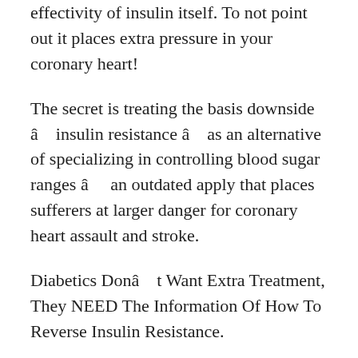effectivity of insulin itself. To not point out it places extra pressure in your coronary heart!
The secret is treating the basis downside â insulin resistance â as an alternative of specializing in controlling blood sugar ranges â an outdated apply that places sufferers at larger danger for coronary heart assault and stroke.
Diabetics Donât Want Extra Treatment, They NEED The Information Of How To Reverse Insulin Resistance.
That is why the traditional medical therapy of diabetes is tragically flawed.
And, if youâre pondering proper now that possibly the diabetes medicines do assist simply sufficient to maintain you alive, suppose once more.